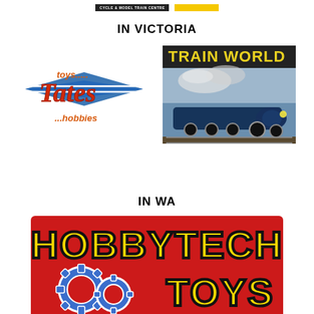[Figure (logo): Two logos at top: a dark banner reading 'CYCLE & MODEL TRAIN CENTRE' and a yellow banner logo]
IN VICTORIA
[Figure (logo): Tates toys...hobbies logo: red script on blue wing design]
[Figure (logo): Train World logo: yellow text on black background with blue steam locomotive image]
IN WA
[Figure (logo): Hobbytech Toys logo: yellow bold text on red background with blue gear icons]